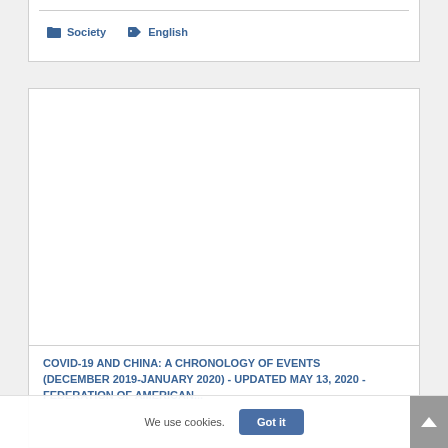Society  English
[Figure (other): Empty white image area inside a card with border]
COVID-19 AND CHINA: A CHRONOLOGY OF EVENTS (DECEMBER 2019-JANUARY 2020) - UPDATED MAY 13, 2020 - FEDERATION OF AMERICAN...
We use cookies.